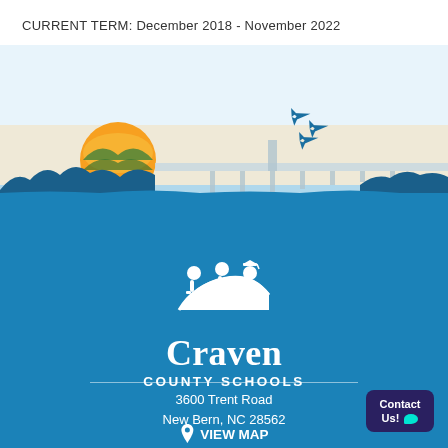CURRENT TERM: December 2018 - November 2022
[Figure (illustration): Scenic illustration of a bridge over water with a sunset/sunrise featuring an orange and yellow sun, blue silhouetted treelines, and three blue military jets flying overhead. Blue and white color palette.]
[Figure (logo): Craven County Schools logo: white figures (two people with graduation cap arc above them) above the text 'Craven' in large serif font and 'COUNTY SCHOOLS' in smaller caps, all in white on blue background.]
3600 Trent Road
New Bern, NC 28562
VIEW MAP